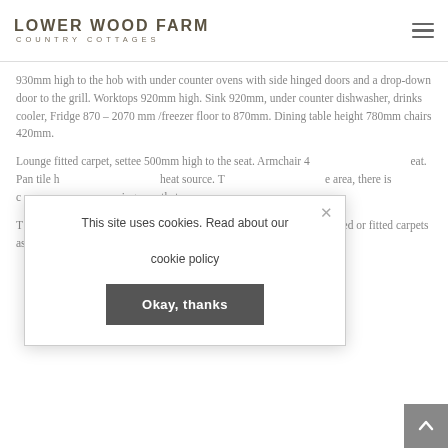Lower Wood Farm Country Cottages
930mm high to the hob with under counter ovens with side hinged doors and a drop-down door to the grill. Worktops 920mm high. Sink 920mm, under counter dishwasher, drinks cooler, Fridge 870 – 2070 mm /freezer floor to 870mm. Dining table height 780mm chairs 420mm.
Lounge fitted carpet, settee 500mm high to the seat. Armchair 4[...] eat. Pan tile h[...] heat source. T[...] area, there is c[...] ing area that c[...]
T[...] floor of the B[...] floors are tiled or fitted carpets as detailed. The main living area is
This site uses cookies. Read about our cookie policy
Okay, thanks